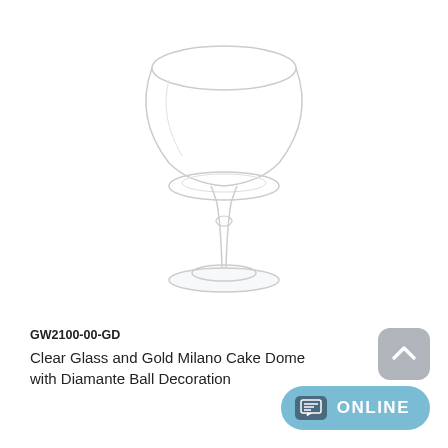[Figure (photo): Clear glass cake dome with a tall stem and round base, resembling a wine glass shape with a transparent dome top. Product photographed on white background.]
GW2100-00-GD
Clear Glass and Gold Milano Cake Dome with Diamante Ball Decoration